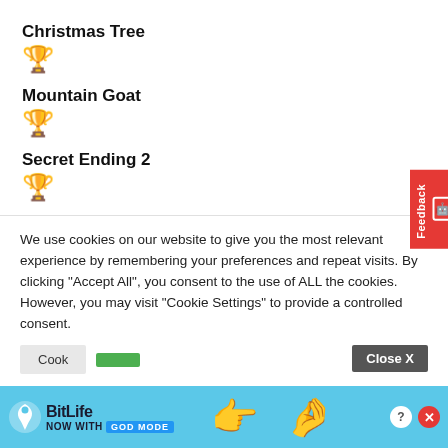Christmas Tree
[Figure (illustration): Silver/grey trophy icon]
Mountain Goat
[Figure (illustration): Gold trophy icon]
Secret Ending 2
[Figure (illustration): Gold trophy icon]
Sock
[Figure (illustration): Gold trophy icon]
We use cookies on our website to give you the most relevant experience by remembering your preferences and repeat visits. By clicking "Accept All", you consent to the use of ALL the cookies. However, you may visit "Cookie Settings" to provide a controlled consent.
[Figure (illustration): BitLife advertisement banner - NOW WITH GOD MODE]